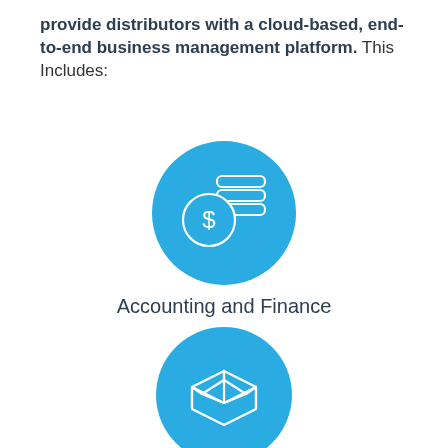provide distributors with a cloud-based, end-to-end business management platform. This Includes:
[Figure (illustration): Blue circle icon with a dollar coin and stacked coins/database icon in white outline]
Accounting and Finance
[Figure (illustration): Blue circle icon with an open box/package in white outline]